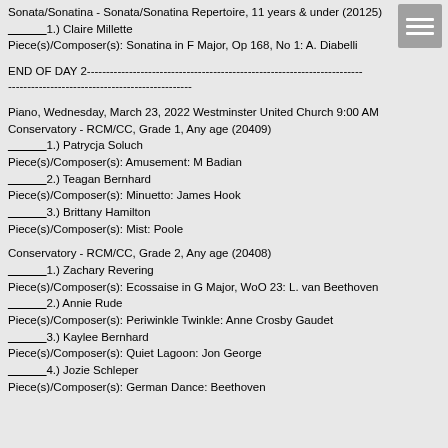Sonata/Sonatina - Sonata/Sonatina Repertoire, 11 years & under (20125)
______1.) Claire Millette
Piece(s)/Composer(s): Sonatina in F Major, Op 168, No 1: A. Diabelli
END OF DAY 2---------------------------------------------------------------------------------
------------------------------------------------
Piano, Wednesday, March 23, 2022 Westminster United Church 9:00 AM
Conservatory - RCM/CC, Grade 1, Any age (20409)
______1.) Patrycja Soluch
Piece(s)/Composer(s): Amusement: M Badian
______2.) Teagan Bernhard
Piece(s)/Composer(s): Minuetto: James Hook
______3.) Brittany Hamilton
Piece(s)/Composer(s): Mist: Poole
Conservatory - RCM/CC, Grade 2, Any age (20408)
______1.) Zachary Revering
Piece(s)/Composer(s): Ecossaise in G Major, WoO 23: L. van Beethoven
______2.) Annie Rude
Piece(s)/Composer(s): Periwinkle Twinkle: Anne Crosby Gaudet
______3.) Kaylee Bernhard
Piece(s)/Composer(s): Quiet Lagoon: Jon George
______4.) Jozie Schleper
Piece(s)/Composer(s): German Dance: Beethoven